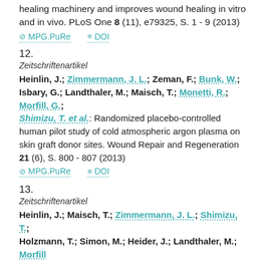healing machinery and improves wound healing in vitro and in vivo. PLoS One 8 (11), e79325, S. 1 - 9 (2013)
⊘ MPG.PuRe   ≡ DOI
12.
Zeitschriftenartikel
Heinlin, J.; Zimmermann, J. L.; Zeman, F.; Bunk, W.; Isbary, G.; Landthaler, M.; Maisch, T.; Monetti, R.; Morfill, G.; Shimizu, T. et al.: Randomized placebo-controlled human pilot study of cold atmospheric argon plasma on skin graft donor sites. Wound Repair and Regeneration 21 (6), S. 800 - 807 (2013)
⊘ MPG.PuRe   ≡ DOI
13.
Zeitschriftenartikel
Heinlin, J.; Maisch, T.; Zimmermann, J. L.; Shimizu, T.; Holzmann, T.; Simon, M.; Heider, J.; Landthaler, M.; Morfill...